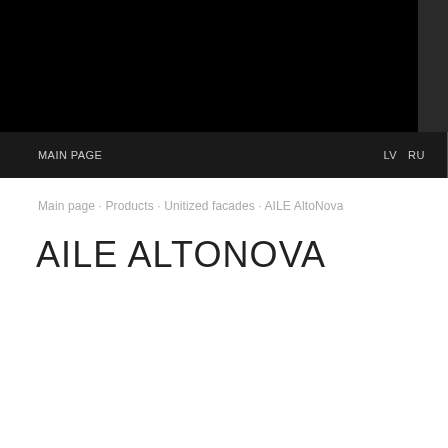MAIN PAGE   LV   RU
Main page · Products · Unitized facades · AILE AltoNova
AILE ALTONOVA